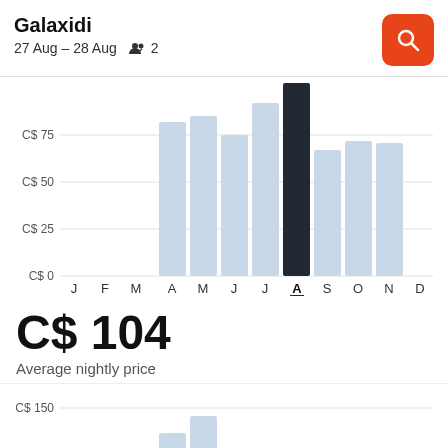Galaxidi
27 Aug – 28 Aug  👥 2
[Figure (bar-chart): Average nightly price by month]
C$ 104
Average nightly price
[Figure (bar-chart): Partial bar chart visible at bottom, y-axis shows C$ 150]